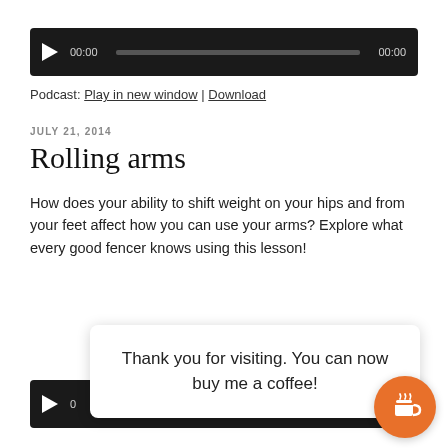[Figure (screenshot): Audio player widget with dark background, play button, time code 00:00, progress bar, and end time 00:00]
Podcast: Play in new window | Download
JULY 21, 2014
Rolling arms
How does your ability to shift weight on your hips and from your feet affect how you can use your arms? Explore what every good fencer knows using this lesson!
Thank you for visiting. You can now buy me a coffee!
[Figure (screenshot): Second audio player widget partially visible at the bottom of the page]
[Figure (illustration): Orange circular badge with coffee cup icon - Buy Me a Coffee widget]